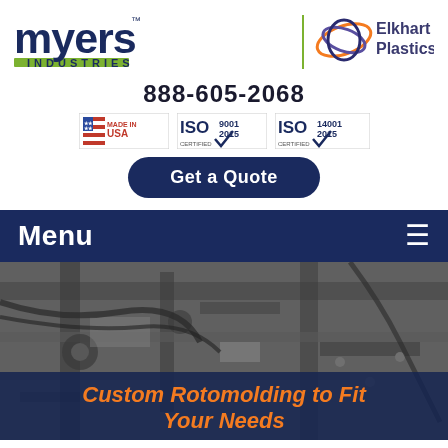[Figure (logo): Myers Industries logo with green underline bar and 'INDUSTRIES' text below, paired with Elkhart Plastics logo (orbital ring graphic in orange and purple) separated by a green vertical divider]
888-605-2068
[Figure (infographic): Three certification badges: Made in USA (flag graphic), ISO 9001:2015 Certified, ISO 14001:2015 Certified]
Get a Quote
Menu
[Figure (photo): Black and white close-up photo of industrial rotomolding machinery with mechanical components, bars, and structural parts]
Custom Rotomolding to Fit Your Needs